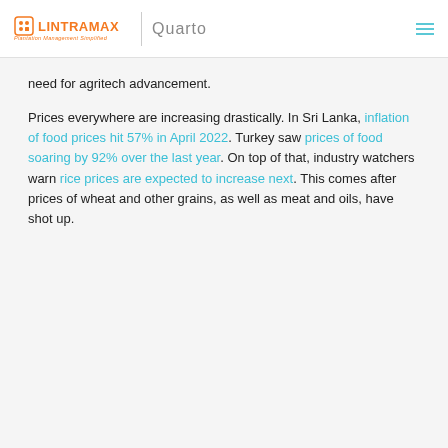LintraMax Plantation Management Simplified | Quarto
need for agritech advancement.
Prices everywhere are increasing drastically. In Sri Lanka, inflation of food prices hit 57% in April 2022. Turkey saw prices of food soaring by 92% over the last year. On top of that, industry watchers warn rice prices are expected to increase next. This comes after prices of wheat and other grains, as well as meat and oils, have shot up.